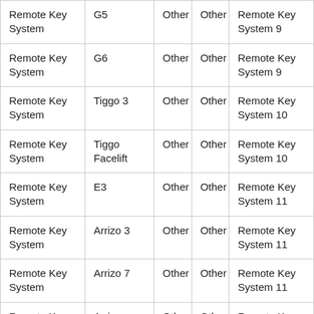| Remote Key System | G5 | Other | Other | Remote Key System 9 |
| Remote Key System | G6 | Other | Other | Remote Key System 9 |
| Remote Key System | Tiggo 3 | Other | Other | Remote Key System 10 |
| Remote Key System | Tiggo Facelift | Other | Other | Remote Key System 10 |
| Remote Key System | E3 | Other | Other | Remote Key System 11 |
| Remote Key System | Arrizo 3 | Other | Other | Remote Key System 11 |
| Remote Key System | Arrizo 7 | Other | Other | Remote Key System 11 |
| Remote Key System | Arrizo M7(PHEV) | Other | Other | Remote Key System 11 |